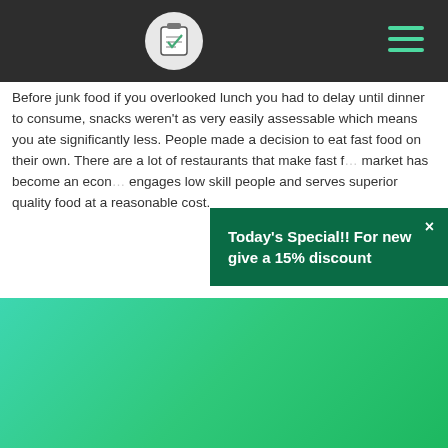Before junk food if you overlooked lunch you had to delay until dinner to consume, snacks weren't as very easily assessable which means you ate significantly less. People made a decision to eat fast food on their own. There are a lot of restaurants that make fast food accessible. The fast food market has become an economic sector that engages low skill people and serves superior quality food at a reasonable cost.
[Figure (infographic): Green popup/modal overlay with text: Today's Special!! For new give a 15% discount, with an X close button]
[Figure (infographic): Green gradient banner section with: custom essay sample promo — A Fever You Can't Sweat Out by Panic! At the Disco, or any similar topic specifically for you, Do Not Waste Your Time, HIRE WRITER button, Only $13.90 / page]